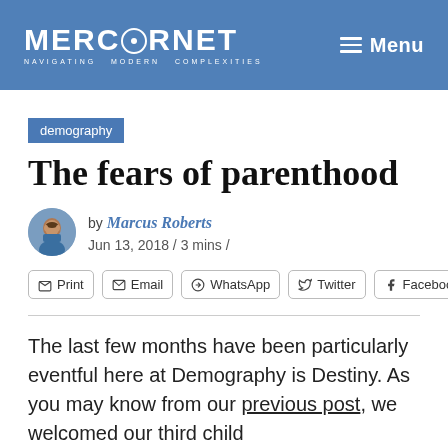MERCATORNET — NAVIGATING MODERN COMPLEXITIES | Menu
demography
The fears of parenthood
by Marcus Roberts
Jun 13, 2018 / 3 mins /
Print  Email  WhatsApp  Twitter  Facebook
The last few months have been particularly eventful here at Demography is Destiny. As you may know from our previous post, we welcomed our third child